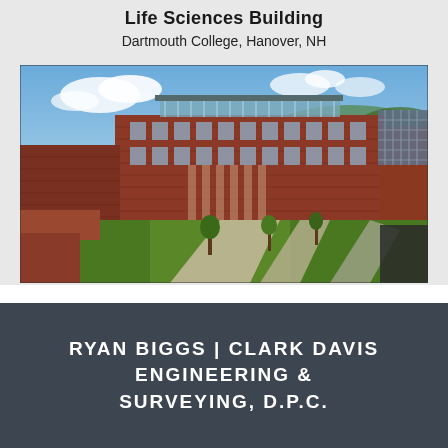Life Sciences Building
Dartmouth College, Hanover, NH
[Figure (photo): Aerial/elevated exterior photo of the Life Sciences Building at Dartmouth College — a large multi-story red brick building with glass greenhouse structures on the roof, surrounded by green lawns, pathways, and trees under a blue sky.]
RYAN BIGGS | CLARK DAVIS ENGINEERING & SURVEYING, D.P.C.